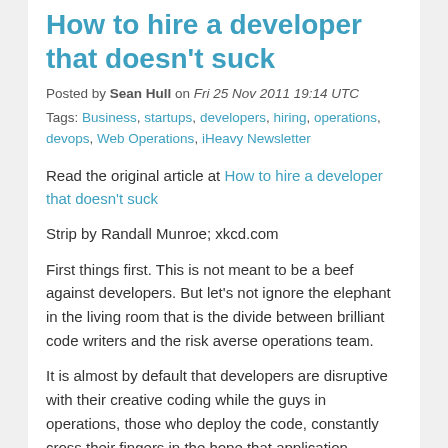How to hire a developer that doesn't suck
Posted by Sean Hull on Fri 25 Nov 2011 19:14 UTC
Tags: Business, startups, developers, hiring, operations, devops, Web Operations, iHeavy Newsletter
Read the original article at How to hire a developer that doesn't suck
Strip by Randall Munroe; xkcd.com
First things first. This is not meant to be a beef against developers. But let's not ignore the elephant in the living room that is the divide between brilliant code writers and the risk averse operations team.
It is almost by default that developers are disruptive with their creative coding while the guys in operations, those who deploy the code, constantly cross their fingers in the hope that application changes won't tilt the machine. And when you're woken up at 4am to deal with an outage or your sluggish site is costing